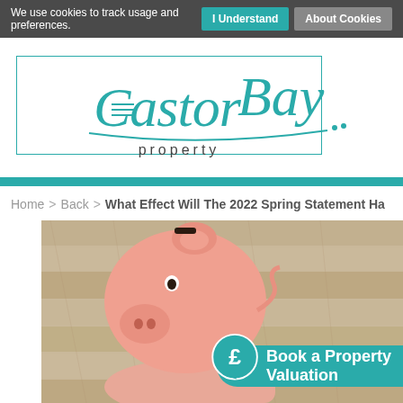We use cookies to track usage and preferences.  I Understand  About Cookies
[Figure (logo): Castor Bay Property logo in teal cursive script with a rectangular teal border outline behind it]
Home > Back > What Effect Will The 2022 Spring Statement Ha
[Figure (photo): A hand holding a pink ceramic piggy bank against a wooden plank background, with a teal speech bubble overlay containing a pound sign and 'Book a Property Valuation' call-to-action button]